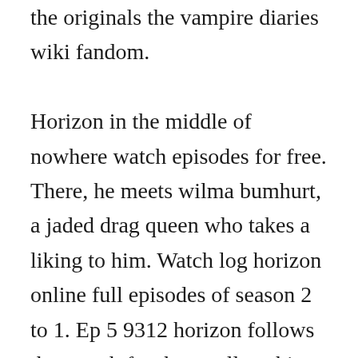the originals the vampire diaries wiki fandom. Horizon in the middle of nowhere watch episodes for free. There, he meets wilma bumhurt, a jaded drag queen who takes a liking to him. Watch log horizon online full episodes of season 2 to 1. Ep 5 9312 horizon follows the search for the smallest thing in the universe, a journey where things dont just become smaller but also a whole lot weirder. Minor comparisons are generally ok but should be tagged accordingly. Nov 08, 2009 the horizon season 1 episode 1 arrival. Watch log horizon online full episodes of season 2 to